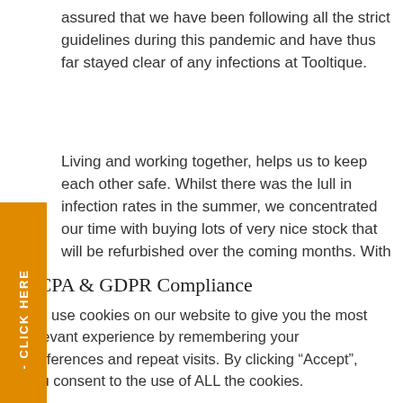assured that we have been following all the strict guidelines during this pandemic and have thus far stayed clear of any infections at Tooltique.
Living and working together, helps us to keep each other safe. Whilst there was the lull in infection rates in the summer, we concentrated our time with buying lots of very nice stock that will be refurbished over the coming months. With forward planning we are reducing all risks that Covid-19 has to certain members of society, as we want to protect them. We know
CCPA & GDPR Compliance
We use cookies on our website to give you the most relevant experience by remembering your preferences and repeat visits. By clicking “Accept”, you consent to the use of ALL the cookies.
Do not sell my personal information.
Cookie settings   ACCEPT